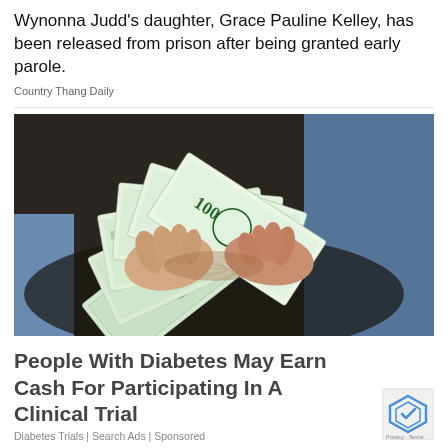Wynonna Judd's daughter, Grace Pauline Kelley, has been released from prison after being granted early parole.
Country Thang Daily
[Figure (photo): Hands holding a fan of US $100 dollar bills spread out like a deck of cards, photographed from above on a dark surface with jeans visible in the background.]
People With Diabetes May Earn Cash For Participating In A Clinical Trial
Diabetes Trials | Search Ads | Sponsored